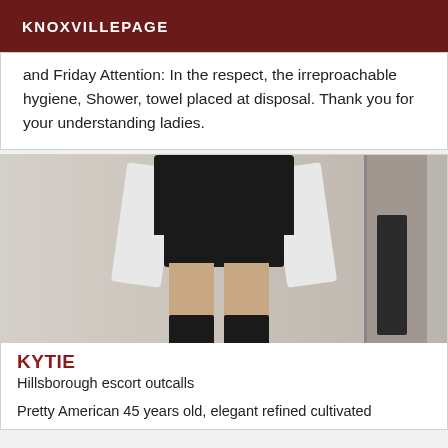KNOXVILLEPAGE
and Friday Attention: In the respect, the irreproachable hygiene, Shower, towel placed at disposal. Thank you for your understanding ladies.
[Figure (photo): A person standing wearing black top, white open shirt, black lace shorts, and black thigh-high stockings, with a chair visible in the background.]
KYTIE
Hillsborough escort outcalls
Pretty American 45 years old, elegant refined cultivated